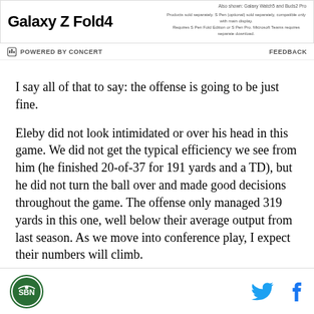[Figure (other): Samsung Galaxy Z Fold4 advertisement banner with product name and small print text]
POWERED BY CONCERT    FEEDBACK
I say all of that to say: the offense is going to be just fine.
Eleby did not look intimidated or over his head in this game. We did not get the typical efficiency we see from him (he finished 20-of-37 for 191 yards and a TD), but he did not turn the ball over and made good decisions throughout the game. The offense only managed 319 yards in this one, well below their average output from last season. As we move into conference play, I expect their numbers will climb.
Site logo, Twitter icon, Facebook icon